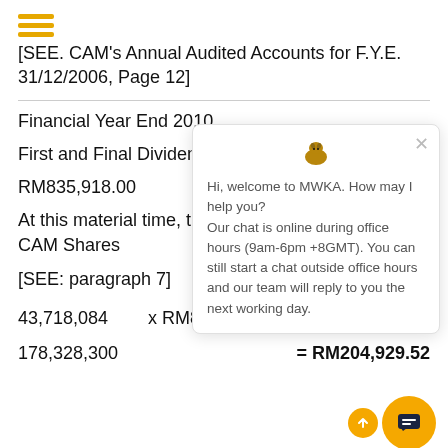[SEE. CAM's Annual Audited Accounts for F.Y.E. 31/12/2006, Page 12]
Financial Year End 2010
First and Final Dividend
RM835,918.00
At this material time, th CAM Shares
[SEE: paragraph 7]
43,718,084      x RM835,918.00
178,328,300                            = RM204,929.52